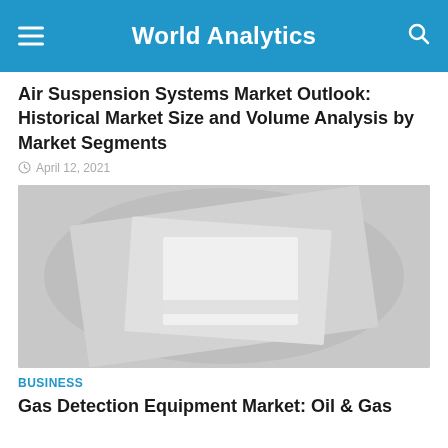World Analytics
Air Suspension Systems Market Outlook: Historical Market Size and Volume Analysis by Market Segments
April 12, 2021
[Figure (photo): Abstract geometric placeholder image with overlapping light gray squares and circular shapes on a gray background]
BUSINESS
Gas Detection Equipment Market: Oil & Gas